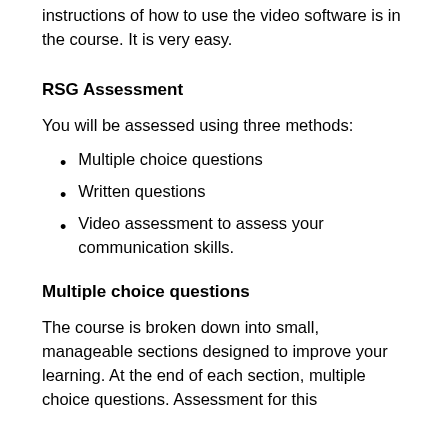instructions of how to use the video software is in the course. It is very easy.
RSG Assessment
You will be assessed using three methods:
Multiple choice questions
Written questions
Video assessment to assess your communication skills.
Multiple choice questions
The course is broken down into small, manageable sections designed to improve your learning. At the end of each section, multiple choice questions. Assessment for this